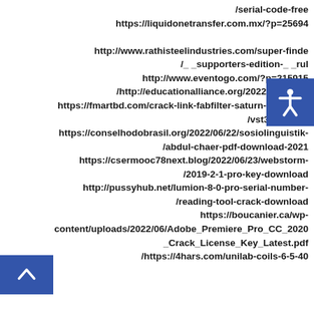/serial-code-free
https://liquidonetransfer.com.mx/?p=25694
http://www.rathisteelindustries.com/super-finde
/_ _supporters-edition-_ _rul
http://www.eventogo.com/?p=215915
/http://educationalliance.org/2022/06/14256
https://fmartbd.com/crack-link-fabfilter-saturn-1-0-1-vst-
/vst3-rtas-x86
https://conselhodobrasil.org/2022/06/22/sosiolinguistik-
/abdul-chaer-pdf-download-2021
https://csermooc78next.blog/2022/06/23/webstorm-
/2019-2-1-pro-key-download
http://pussyhub.net/lumion-8-0-pro-serial-number-
/reading-tool-crack-download
https://boucanier.ca/wp-
content/uploads/2022/06/Adobe_Premiere_Pro_CC_2020
_Crack_License_Key_Latest.pdf
/https://4hars.com/unilab-coils-6-5-40